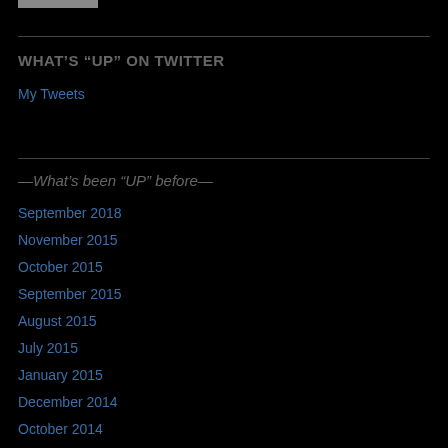WHAT’S “UP” ON TWITTER
My Tweets
—What’s been “UP” before—
September 2018
November 2015
October 2015
September 2015
August 2015
July 2015
January 2015
December 2014
October 2014
September 2014
December 2013